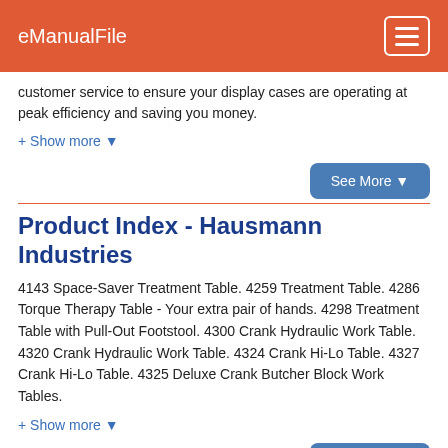eManualFile
customer service to ensure your display cases are operating at peak efficiency and saving you money.
+ Show more ▼
Product Index - Hausmann Industries
4143 Space-Saver Treatment Table. 4259 Treatment Table. 4286 Torque Therapy Table - Your extra pair of hands. 4298 Treatment Table with Pull-Out Footstool. 4300 Crank Hydraulic Work Table. 4320 Crank Hydraulic Work Table. 4324 Crank Hi-Lo Table. 4327 Crank Hi-Lo Table. 4325 Deluxe Crank Butcher Block Work Tables.
+ Show more ▼